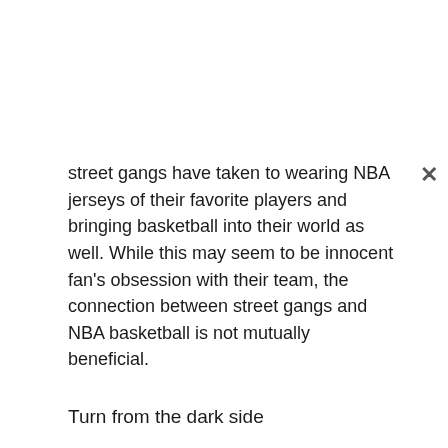street gangs have taken to wearing NBA jerseys of their favorite players and bringing basketball into their world as well. While this may seem to be innocent fan's obsession with their team, the connection between street gangs and NBA basketball is not mutually beneficial.
Turn from the dark side
Anyone of any race can listen to and enjoy hip-hop music. The challenge for the NBA is to separate music from the genre that is violent, dark and unseemly from being a part of their sport and merchandising. They have taken such steps as creating a new dress code and defining behavior both on and off the court for players when representing the...